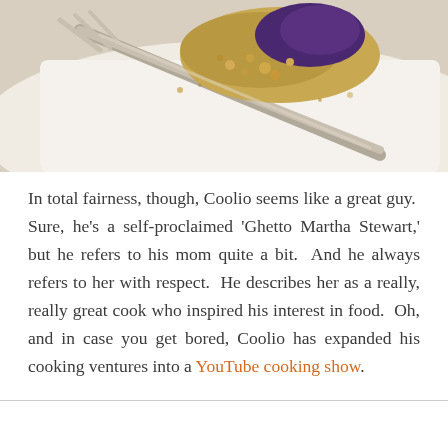[Figure (photo): Close-up photo of a dessert with crumble topping and berries on a white plate with a silver fork]
In total fairness, though, Coolio seems like a great guy.  Sure, he's a self-proclaimed 'Ghetto Martha Stewart,' but he refers to his mom quite a bit.  And he always refers to her with respect.  He describes her as a really, really great cook who inspired his interest in food.  Oh, and in case you get bored, Coolio has expanded his cooking ventures into a YouTube cooking show.